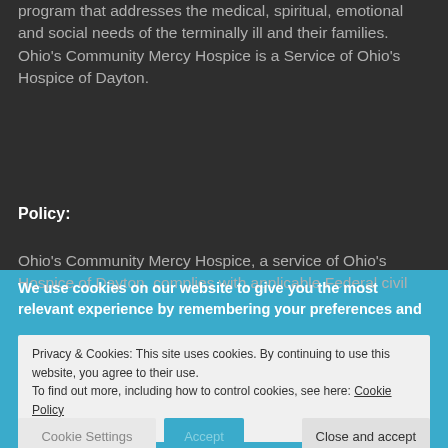program that addresses the medical, spiritual, emotional and social needs of the terminally ill and their families. Ohio's Community Mercy Hospice is a Service of Ohio's Hospice of Dayton.
Policy:
Ohio's Community Mercy Hospice, a service of Ohio's Hospice of Dayton, complies with applicable Federal civil
We use cookies on our website to give you the most relevant experience by remembering your preferences and
Privacy & Cookies: This site uses cookies. By continuing to use this website, you agree to their use.
To find out more, including how to control cookies, see here: Cookie Policy
Cookie Settings
Accept
Close and accept